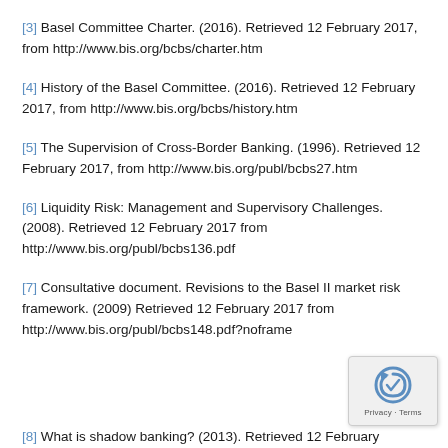[3] Basel Committee Charter. (2016). Retrieved 12 February 2017, from http://www.bis.org/bcbs/charter.htm
[4] History of the Basel Committee. (2016). Retrieved 12 February 2017, from http://www.bis.org/bcbs/history.htm
[5] The Supervision of Cross-Border Banking. (1996). Retrieved 12 February 2017, from http://www.bis.org/publ/bcbs27.htm
[6] Liquidity Risk: Management and Supervisory Challenges. (2008). Retrieved 12 February 2017 from http://www.bis.org/publ/bcbs136.pdf
[7] Consultative document. Revisions to the Basel II market risk framework. (2009) Retrieved 12 February 2017 from http://www.bis.org/publ/bcbs148.pdf?noframe
[8] What is shadow banking? (2013). Retrieved 12 February